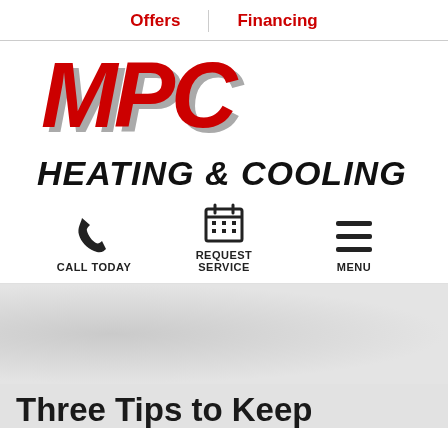Offers | Financing
[Figure (logo): MPC Heating & Cooling logo — large red bold italic 'MPC' letters with gray shadow, below in black bold italic 'HEATING & COOLING']
CALL TODAY | REQUEST SERVICE | MENU
Three Tips to Keep